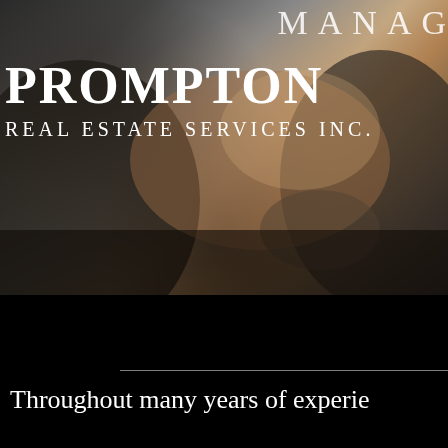[Figure (photo): Blurred close-up photo of two people's hands clasped together, wearing dark clothing with jewelry visible, serving as background image for real estate company branding]
MANAG
PROMPTON
REAL ESTATE SERVICES INC.
Throughout many years of experie